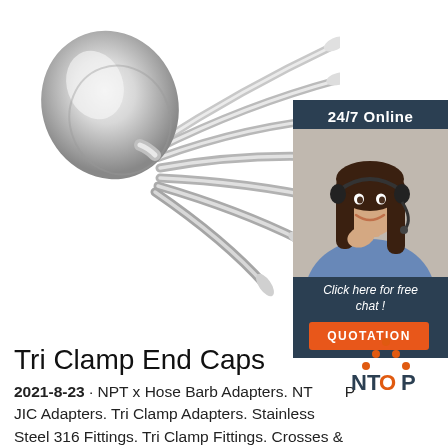[Figure (photo): Multiple stainless steel spoons fanned out, showing reflective metallic surface, on a white background]
[Figure (infographic): Chat support widget: dark blue box with '24/7 Online' header, photo of woman with headset smiling, text 'Click here for free chat!', and orange 'QUOTATION' button]
Tri Clamp End Caps
2021-8-23 · NPT x Hose Barb Adapters. NTOP JIC Adapters. Tri Clamp Adapters. Stainless Steel 316 Fittings. Tri Clamp Fittings. Crosses &